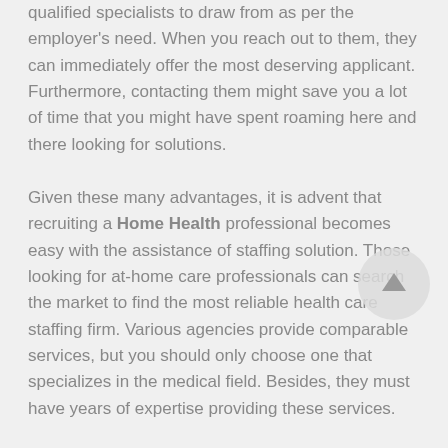qualified specialists to draw from as per the employer's need. When you reach out to them, they can immediately offer the most deserving applicant. Furthermore, contacting them might save you a lot of time that you might have spent roaming here and there looking for solutions.
Given these many advantages, it is advent that recruiting a Home Health professional becomes easy with the assistance of staffing solution. Those looking for at-home care professionals can search the market to find the most reliable health care staffing firm. Various agencies provide comparable services, but you should only choose one that specializes in the medical field. Besides, they must have years of expertise providing these services.